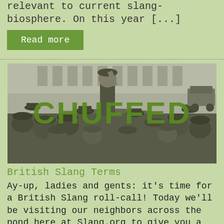relevant to current slang-biosphere. On this year [...]
Read more
[Figure (photo): Black and white historical photograph of a crowd of people, many wearing bowler hats. A man in the center is raised up and cheering with his fist in the air. The word CHUFFED is overlaid in large bold green text across the center of the image.]
British Slang Terms
Ay-up, ladies and gents: it's time for a British Slang roll-call! Today we'll be visiting our neighbors across the pond here at Slang.org to give you a deep dive into the ...